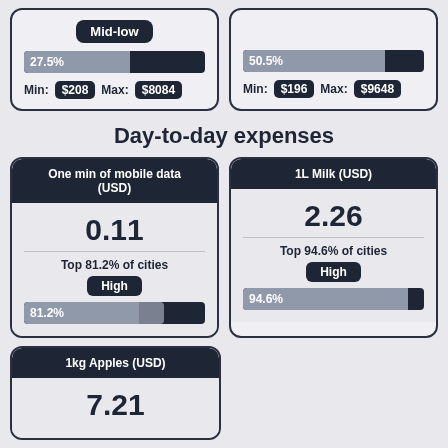[Figure (infographic): Top row: two stat cards. Left card: 'Mid-low' header, 27.5% bar, Min $208 Max $8084. Right card: 50.5% bar, Min $196 Max $9648.]
Day-to-day expenses
[Figure (infographic): Middle stat card left: 'One min of mobile data (USD)', value 0.11, Top 81.2% of cities, High badge, 81.2% bar]
[Figure (infographic): Middle stat card right: '1L Milk (USD)', value 2.26, Top 94.6% of cities, High badge, 94.6% bar]
[Figure (infographic): Bottom stat card left: '1kg Apples (USD)', value 7.21]